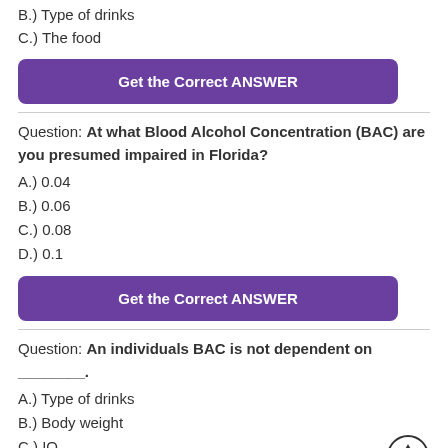B.) Type of drinks
C.) The food
[Figure (other): Purple button labeled 'Get the Correct ANSWER']
Question: At what Blood Alcohol Concentration (BAC) are you presumed impaired in Florida?
A.) 0.04
B.) 0.06
C.) 0.08
D.) 0.1
[Figure (other): Purple button labeled 'Get the Correct ANSWER']
Question: An individuals BAC is not dependent on ________.
A.) Type of drinks
B.) Body weight
C.) IQ
D.) The food